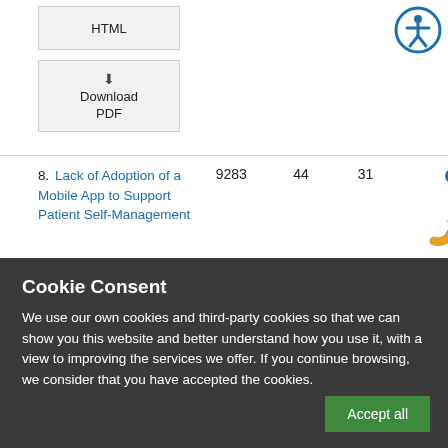HTML
Download PDF
| Title | Views | Downloads | Citations |  |
| --- | --- | --- | --- | --- |
| 8. Lack of Adoption of a Mobile App to Support Patient Self-Management | 9283 | 44 | 31 |  |
Cookie Consent
We use our own cookies and third-party cookies so that we can show you this website and better understand how you use it, with a view to improving the services we offer. If you continue browsing, we consider that you have accepted the cookies.
Accept all